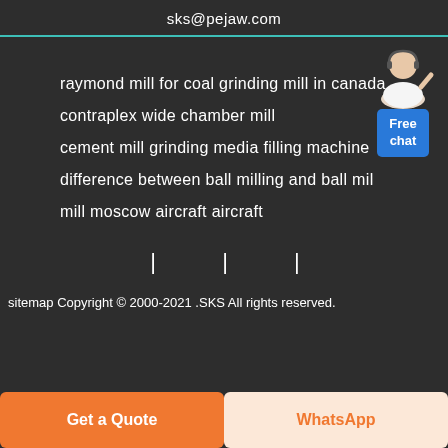sks@pejaw.com
raymond mill for coal grinding mill in canada
contraplex wide chamber mill
cement mill grinding media filling machine
difference between ball milling and ball mil
mill moscow aircraft aircraft
[Figure (other): Customer service avatar with Free chat button widget]
| | |
sitemap Copyright © 2000-2021 .SKS All rights reserved.
Get a Quote
WhatsApp